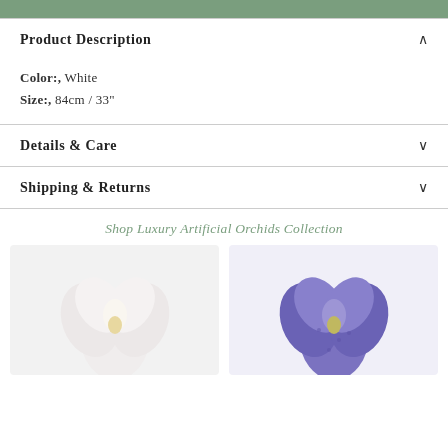[Figure (other): Green decorative bar at top of page]
Product Description
Color:, White
Size:, 84cm / 33"
Details & Care
Shipping & Returns
Shop Luxury Artificial Orchids Collection
[Figure (photo): White artificial orchid flower on light grey background]
[Figure (photo): Purple/blue artificial orchid flower on light grey background]